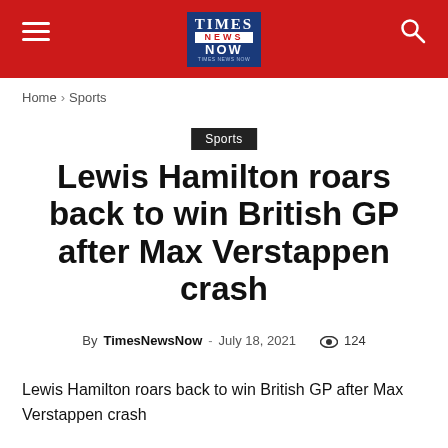Times News Now
Home › Sports
Sports
Lewis Hamilton roars back to win British GP after Max Verstappen crash
By TimesNewsNow - July 18, 2021  124
Lewis Hamilton roars back to win British GP after Max Verstappen crash